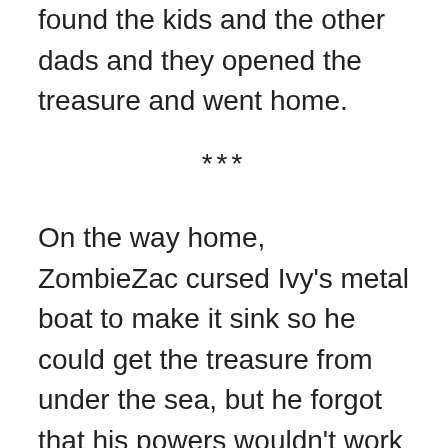found the kids and the other dads and they opened the treasure and went home.
***
On the way home, ZombieZac cursed Ivy's metal boat to make it sink so he could get the treasure from under the sea, but he forgot that his powers wouldn't work anymore if he went in water. Soon the boat started to sink. Ivy and her friends tried to stay above the water, while the dads tried to get the treasure. ZombieZac got it, but he couldn't get himself home with